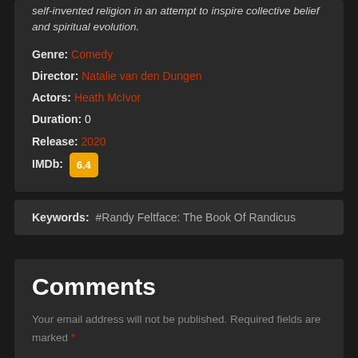self-invented religion in an attempt to inspire collective belief and spiritual evolution.
Genre: Comedy
Director: Natalie van den Dungen
Actors: Heath McIvor
Duration: 0
Release: 2020
IMDb: 6.4
Keywords: #Randy Feltface: The Book Of Randicus
Comments
Your email address will not be published. Required fields are marked *
Comment *